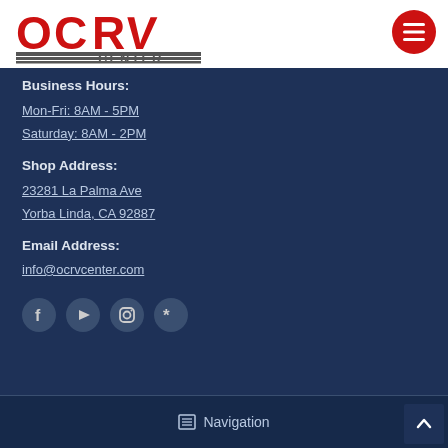[Figure (logo): OCRV Center logo with red letters and gray striped CENTER text]
Business Hours:
Mon-Fri: 8AM - 5PM
Saturday: 8AM - 2PM
Shop Address:
23281 La Palma Ave
Yorba Linda, CA 92887
Email Address:
info@ocrvcenter.com
[Figure (infographic): Social media icons row: Facebook, YouTube, Instagram, Yelp]
Navigation